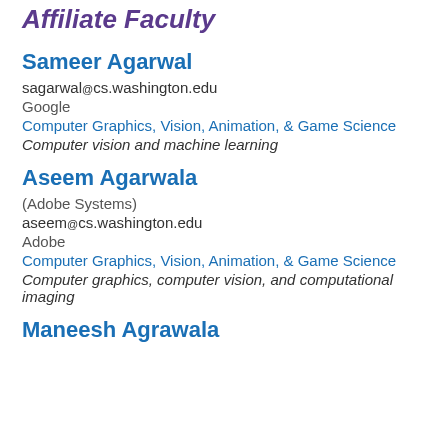Affiliate Faculty
Sameer Agarwal
sagarwal@cs.washington.edu
Google
Computer Graphics, Vision, Animation, & Game Science
Computer vision and machine learning
Aseem Agarwala
(Adobe Systems)
aseem@cs.washington.edu
Adobe
Computer Graphics, Vision, Animation, & Game Science
Computer graphics, computer vision, and computational imaging
Maneesh Agrawala